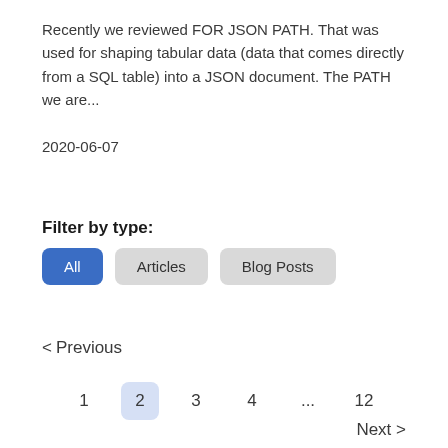Recently we reviewed FOR JSON PATH. That was used for shaping tabular data (data that comes directly from a SQL table) into a JSON document. The PATH we are...
2020-06-07
Filter by type:
All
Articles
Blog Posts
< Previous
1  2  3  4  ...  12
Next >